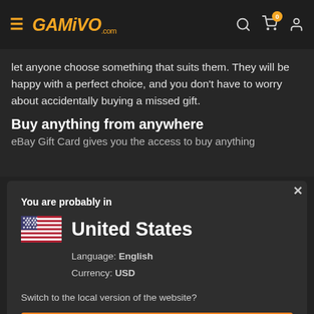GAMIVO.com
let anyone choose something that suits them. They will be happy with a perfect choice, and you don't have to worry about accidentally buying a missed gift.
Buy anything from anywhere
eBay Gift Card gives you the access to buy anything
You are probably in
United States
Language: English
Currency: USD
Switch to the local version of the website?
YES